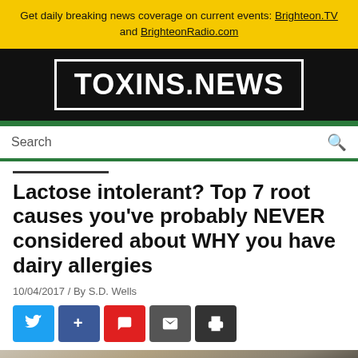Get daily breaking news coverage on current events: Brighteon.TV and BrighteonRadio.com
[Figure (logo): TOXINS.NEWS logo in white text on black background with white border box]
Search
Lactose intolerant? Top 7 root causes you've probably NEVER considered about WHY you have dairy allergies
10/04/2017 / By S.D. Wells
[Figure (infographic): Social share buttons: Twitter, Plus/Facebook, Comment, Email, Print]
[Figure (photo): Photo of a black and white cow in a field]